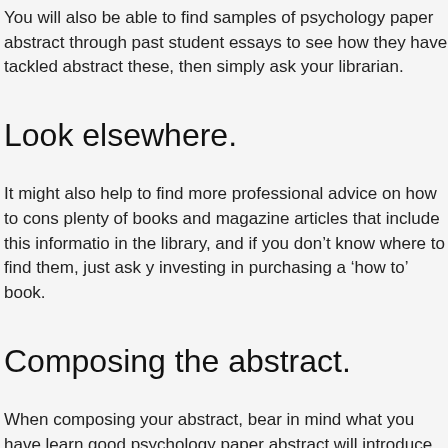You will also be able to find samples of psychology paper abstract through past student essays to see how they have tackled abstract these, then simply ask your librarian.
Look elsewhere.
It might also help to find more professional advice on how to cons plenty of books and magazine articles that include this informatio in the library, and if you don't know where to find them, just ask y investing in purchasing a ‘how to’ book.
Composing the abstract.
When composing your abstract, bear in mind what you have learn good psychology paper abstract will introduce the main topic and will be exploring. Say what your aims and objectives are and what the research you have performed and summarize the contents of